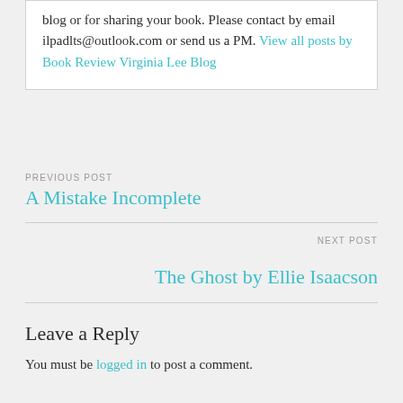blog or for sharing your book. Please contact by email ilpadlts@outlook.com or send us a PM. View all posts by Book Review Virginia Lee Blog
PREVIOUS POST
A Mistake Incomplete
NEXT POST
The Ghost by Ellie Isaacson
Leave a Reply
You must be logged in to post a comment.